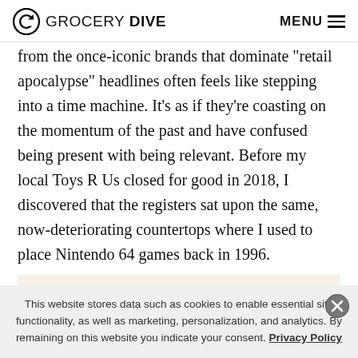GROCERY DIVE  MENU
from the once-iconic brands that dominate “retail apocalypse” headlines often feels like stepping into a time machine. It’s as if they’re coasting on the momentum of the past and have confused being present with being relevant. Before my local Toys R Us closed for good in 2018, I discovered that the registers sat upon the same, now-deteriorating countertops where I used to place Nintendo 64 games back in 1996.
[Figure (other): Advertisement banner placeholder, beige/cream background]
This website stores data such as cookies to enable essential site functionality, as well as marketing, personalization, and analytics. By remaining on this website you indicate your consent. Privacy Policy